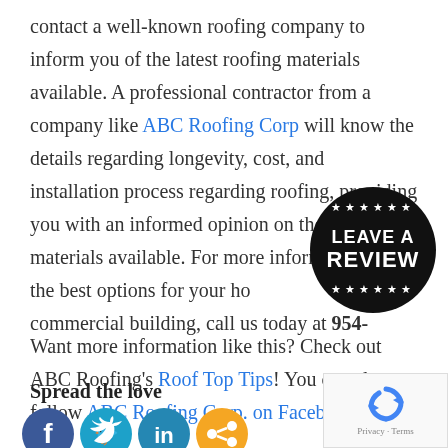contact a well-known roofing company to inform you of the latest roofing materials available. A professional contractor from a company like ABC Roofing Corp will know the details regarding longevity, cost, and installation process regarding roofing, providing you with an informed opinion on the different materials available. For more information on the best options for your home or commercial building, call us today at 954-
[Figure (other): Black circular badge with stars and text 'LEAVE A REVIEW' in white on black background]
Want more information like this? Check out ABC Roofing's Roof Top Tips! You can also follow ABC Roofing Corp. on Facebook.
Spread the love
[Figure (illustration): Social media share icons: Facebook (blue), Twitter (teal), LinkedIn (blue), Share (orange)]
[Figure (logo): Google reCAPTCHA widget with Privacy and Terms links]